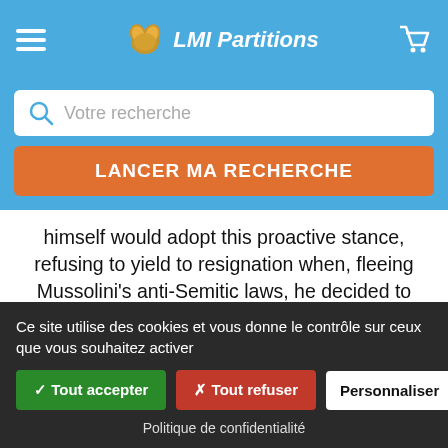LMI Partitions
Votre recherche
LANCER MA RECHERCHE
himself would adopt this proactive stance, refusing to yield to resignation when, fleeing Mussolini's anti-Semitic laws, he decided to emigrate in 1939 to the United States, a land of refuge to which he would remain faithful until his death some thirty years later.
+ DE DÉTAILS
Ce site utilise des cookies et vous donne le contrôle sur ceux que vous souhaitez activer
✓ Tout accepter
✗ Tout refuser
Personnaliser
Politique de confidentialité